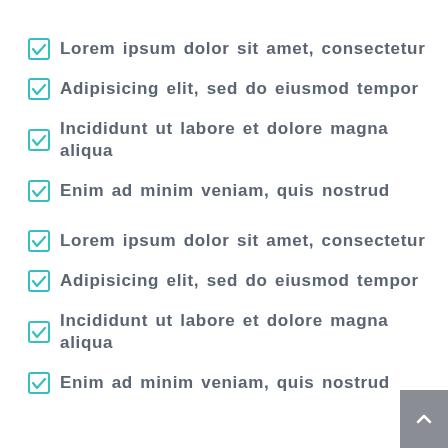Lorem ipsum dolor sit amet, consectetur
Adipisicing elit, sed do eiusmod tempor
Incididunt ut labore et dolore magna aliqua
Enim ad minim veniam, quis nostrud
Lorem ipsum dolor sit amet, consectetur
Adipisicing elit, sed do eiusmod tempor
Incididunt ut labore et dolore magna aliqua
Enim ad minim veniam, quis nostrud